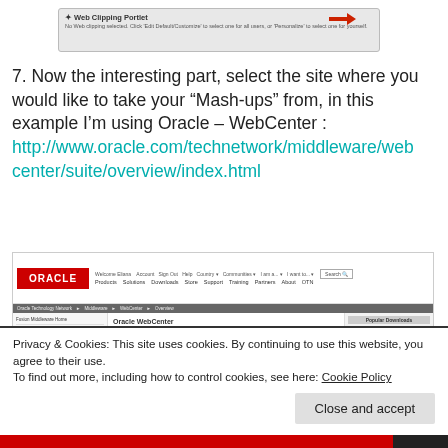[Figure (screenshot): Web Clipping Portlet screenshot with red arrow pointing to settings icon]
7. Now the interesting part, select the site where you would like to take your “Mash-ups” from, in this example I’m using Oracle – WebCenter : http://www.oracle.com/technetwork/middleware/webcenter/suite/overview/index.html
[Figure (screenshot): Oracle WebCenter website screenshot showing Oracle logo, navigation, and Oracle WebCenter page content]
Privacy & Cookies: This site uses cookies. By continuing to use this website, you agree to their use.
To find out more, including how to control cookies, see here: Cookie Policy
Close and accept